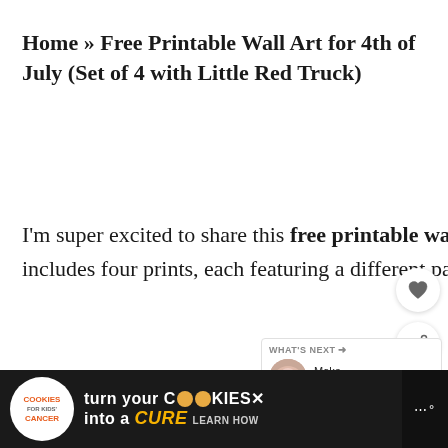Home » Free Printable Wall Art for 4th of July (Set of 4 with Little Red Truck)
I'm super excited to share this free printable wall art set with you all! The collection includes four prints, each featuring a different patriotic design
My favorite is the little red truck with a
[Figure (screenshot): Social media share icons (heart/save and share) on right side]
[Figure (infographic): What's Next widget showing 'Make Repurposed...' with circular thumbnail of floral image]
[Figure (screenshot): Advertisement banner: 'cookies for kids cancer — turn your COOKIES into a CURE LEARN HOW' on dark background]